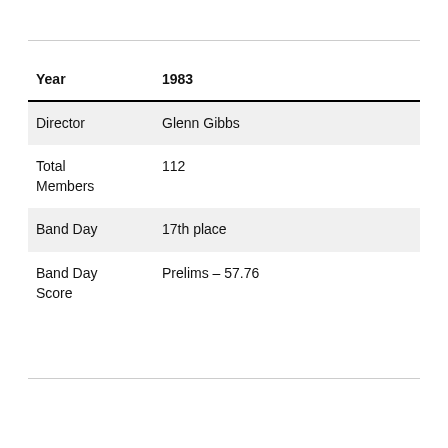| Year | 1983 |
| --- | --- |
| Director | Glenn Gibbs |
| Total Members | 112 |
| Band Day | 17th place |
| Band Day Score | Prelims – 57.76 |